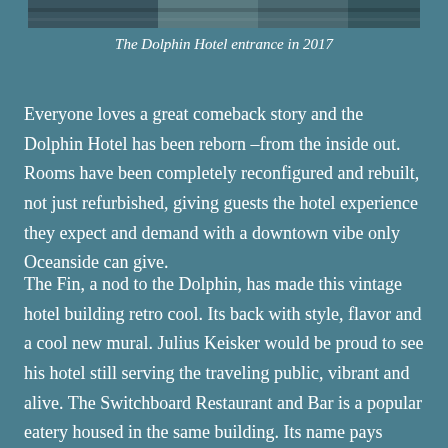[Figure (photo): Photo strip of the Dolphin Hotel entrance]
The Dolphin Hotel entrance in 2017
Everyone loves a great comeback story and the Dolphin Hotel has been reborn –from the inside out. Rooms have been completely reconfigured and rebuilt, not just refurbished, giving guests the hotel experience they expect and demand with a downtown vibe only Oceanside can give.
The Fin, a nod to the Dolphin, has made this vintage hotel building retro cool. Its back with style, flavor and a cool new mural. Julius Keisker would be proud to see his hotel still serving the traveling public, vibrant and alive. The Switchboard Restaurant and Bar is a popular eatery housed in the same building. Its name pays homage to the telephone workers who occupied the